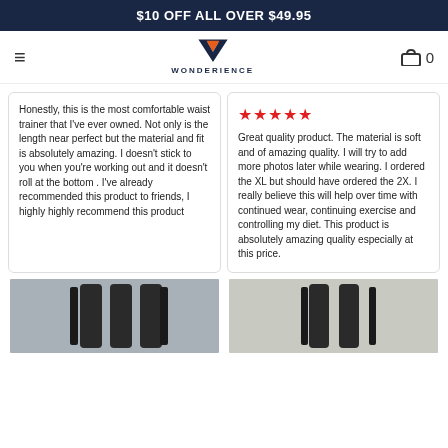$10 OFF ALL OVER $49.95
[Figure (logo): Wonderience logo with orange and blue W icon and brand name]
Honestly, this is the most comfortable waist trainer that I've ever owned.  Not only is the length near perfect but the material and fit is absolutely amazing. I doesn't stick to you when you're working out and it doesn't roll at the bottom . I've already recommended this product to friends, I highly highly recommend this product
★★★★★
Great quality product. The material is soft and of amazing quality. I will try to add more photos later while wearing. I ordered the XL but should have ordered the 2X. I really believe this will help over time with continued wear, continuing exercise and controlling my diet. This product is absolutely amazing quality especially at this price.
[Figure (photo): Photo of black waist trainer product on wooden surface]
[Figure (photo): Photo of black waist trainer product on light surface]